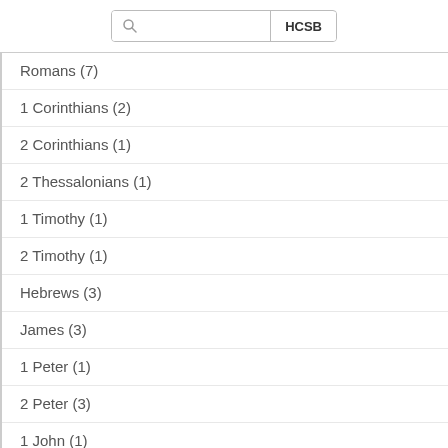[Figure (screenshot): Search bar with magnifying glass icon and HCSB version button]
Romans (7)
1 Corinthians (2)
2 Corinthians (1)
2 Thessalonians (1)
1 Timothy (1)
2 Timothy (1)
Hebrews (3)
James (3)
1 Peter (1)
2 Peter (3)
1 John (1)
Jude (3)
Revelation (4)